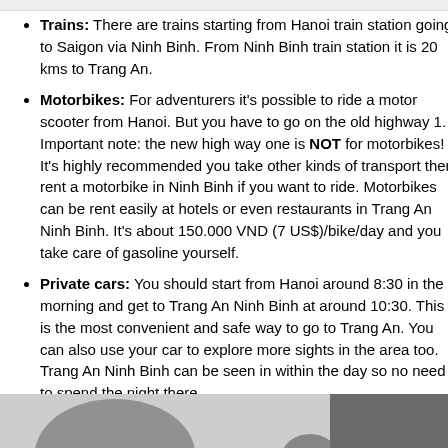Trains: There are trains starting from Hanoi train station going to Saigon via Ninh Binh. From Ninh Binh train station it is 20 kms to Trang An.
Motorbikes: For adventurers it's possible to ride a motor scooter from Hanoi. But you have to go on the old highway 1. Important note: the new high way one is NOT for motorbikes! It's highly recommended you take other kinds of transport then rent a motorbike in Ninh Binh if you want to ride. Motorbikes can be rent easily at hotels or even restaurants in Trang An Ninh Binh. It's about 150.000 VND (7 US$)/bike/day and you take care of gasoline yourself.
Private cars: You should start from Hanoi around 8:30 in the morning and get to Trang An Ninh Binh at around 10:30. This is the most convenient and safe way to go to Trang An. You can also use your car to explore more sights in the area too. Trang An Ninh Binh can be seen in within the day so no need to spend the night there.
[Figure (photo): Bottom strip showing partial images of landscape/scenery related to Trang An area]